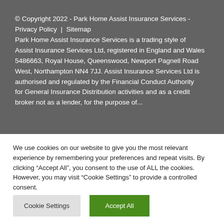© Copyright 2022 - Park Home Assist Insurance Services - Privacy Policy | Sitemap
Park Home Assist Insurance Services is a trading style of Assist Insurance Services Ltd, registered in England and Wales 5486663, Royal House, Queenswood, Newport Pagnell Road West, Northampton NN4 7JJ. Assist Insurance Services Ltd is authorised and regulated by the Financial Conduct Authority for General Insurance Distribution activities and as a credit broker not as a lender, for the purpose of...
We use cookies on our website to give you the most relevant experience by remembering your preferences and repeat visits. By clicking "Accept All", you consent to the use of ALL the cookies. However, you may visit "Cookie Settings" to provide a controlled consent.